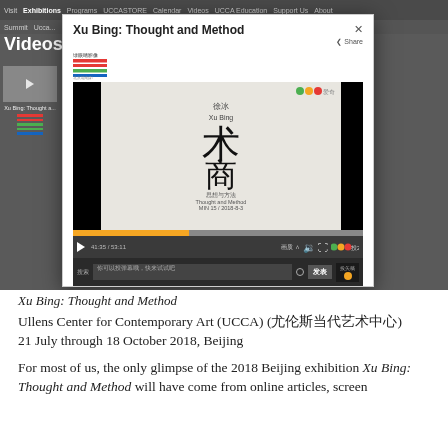[Figure (screenshot): Screenshot of UCCA website showing a video modal popup for 'Xu Bing: Thought and Method', with a video player showing Chinese characters and artwork, progress bar, controls, and a thumbnail sidebar on the left.]
Xu Bing: Thought and Method
Ullens Center for Contemporary Art (UCCA) (尤伦斯当代艺术中心)
21 July through 18 October 2018, Beijing
For most of us, the only glimpse of the 2018 Beijing exhibition Xu Bing: Thought and Method will have come from online articles, screen